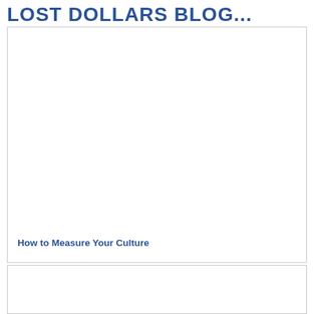LOST DOLLARS BLOG...
[Figure (other): Blog post card with white image area at top]
How to Measure Your Culture
[Figure (other): Second blog post card with white image area]